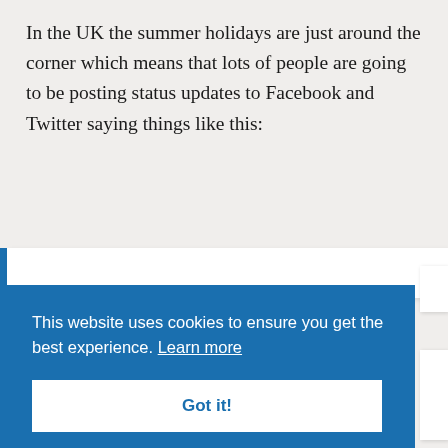In the UK the summer holidays are just around the corner which means that lots of people are going to be posting status updates to Facebook and Twitter saying things like this:
[Figure (screenshot): Cookie consent overlay banner on a webpage. Blue background with white text reading 'This website uses cookies to ensure you get the best experience. Learn more' with a white 'Got it!' button below.]